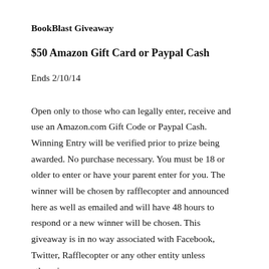BookBlast Giveaway
$50 Amazon Gift Card or Paypal Cash
Ends 2/10/14
Open only to those who can legally enter, receive and use an Amazon.com Gift Code or Paypal Cash. Winning Entry will be verified prior to prize being awarded. No purchase necessary. You must be 18 or older to enter or have your parent enter for you. The winner will be chosen by rafflecopter and announced here as well as emailed and will have 48 hours to respond or a new winner will be chosen. This giveaway is in no way associated with Facebook, Twitter, Rafflecopter or any other entity unless otherwise